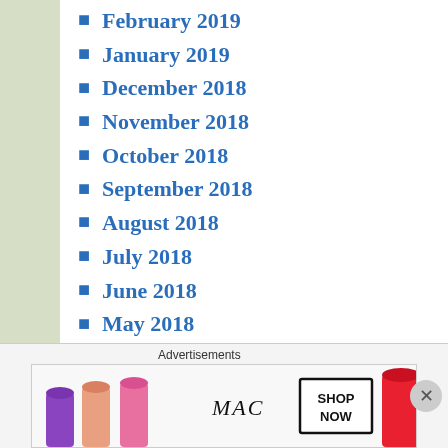February 2019
January 2019
December 2018
November 2018
October 2018
September 2018
August 2018
July 2018
June 2018
May 2018
April 2018
March 2018
February 2018
January 2018
December 2017
November 2017
October 2017
September 2017
[Figure (illustration): MAC cosmetics advertisement showing lipsticks in purple, peach, and pink colors with MAC logo and SHOP NOW button]